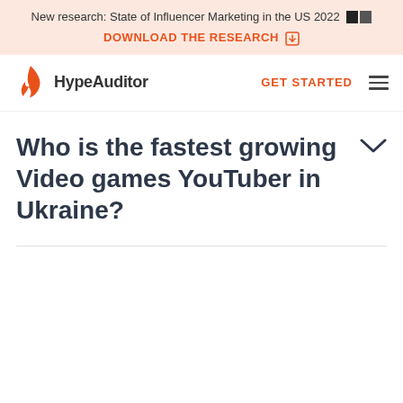New research: State of Influencer Marketing in the US 2022 🟧🟦
DOWNLOAD THE RESEARCH →
HypeAuditor   GET STARTED ☰
Who is the fastest growing Video games YouTuber in Ukraine?